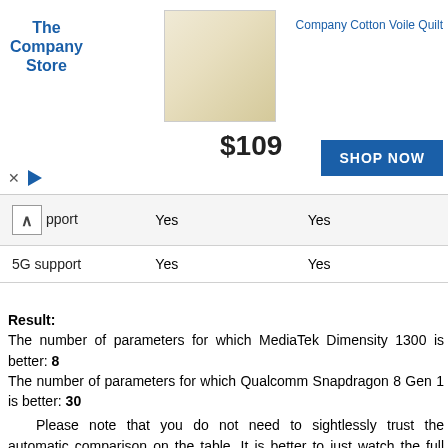[Figure (other): Advertisement banner for The Company Store featuring a Company Cotton Voile Quilt at $109 with a SHOP NOW button]
| [collapse] ...pport | Yes | Yes |
| 5G support | Yes | Yes |
Result:
The number of parameters for which MediaTek Dimensity 1300 is better: 8
The number of parameters for which Qualcomm Snapdragon 8 Gen 1 is better: 30
   Please note that you do not need to sightlessly trust the automatic comparison on the table. It is better to just watch the full video of joint comparison and hear what people say who really appreciated the capabilities of both processors, and also read the test results on the links under the article.
Devices lists
Benchmarks